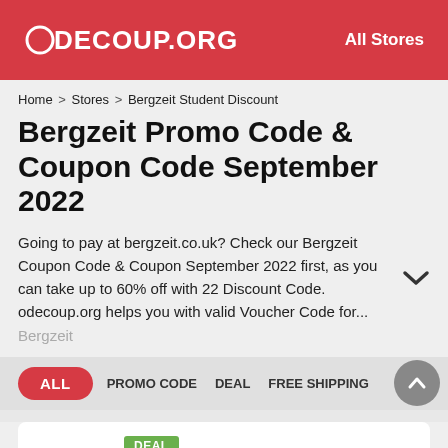ODECOUP.ORG  All Stores
Home > Stores > Bergzeit Student Discount
Bergzeit Promo Code & Coupon Code September 2022
Going to pay at bergzeit.co.uk? Check our Bergzeit Coupon Code & Coupon September 2022 first, as you can take up to 60% off with 22 Discount Code. odecoup.org helps you with valid Voucher Code for... Bergzeit
ALL   PROMO CODE   DEAL   FREE SHIPPING
DEAL
Bergzeit Student Discount